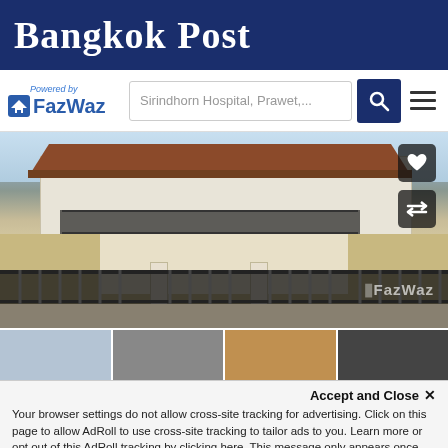Bangkok Post
[Figure (logo): FazWaz logo with 'Powered by' text above, house icon, and search bar showing 'Sirindhorn Hospital, Prawet,...' with a dark blue search button and hamburger menu icon]
[Figure (photo): Two-story Thai house with brown roof tiles, cream/beige exterior walls, black metal security fence, balcony railings, and FazWaz watermark in lower right corner]
[Figure (photo): Thumbnail strip of four smaller property images below the main photo]
Accept and Close ×
Your browser settings do not allow cross-site tracking for advertising. Click on this page to allow AdRoll to use cross-site tracking to tailor ads to you. Learn more or opt out of this AdRoll tracking by clicking here. This message only appears once.